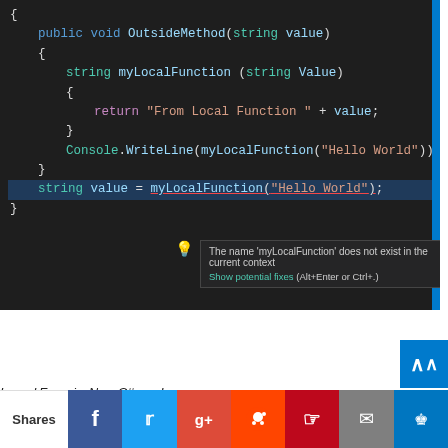[Figure (screenshot): C# code editor screenshot showing OutsideMethod with a local function myLocalFunction, and an error tooltip: 'The name myLocalFunction does not exist in the current context' with a 'Show potential fixes' option.]
Local Functions - New C# 7 Language...
Shares